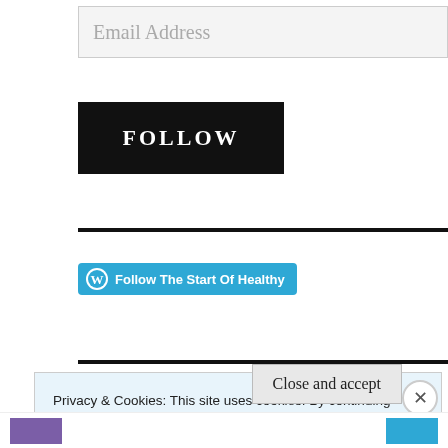Email Address
FOLLOW
[Figure (other): WordPress Follow The Start Of Healthy button in teal/blue]
Privacy & Cookies: This site uses cookies. By continuing to use this website, you agree to their use. To find out more, including how to control cookies, see here: Cookie Policy
Close and accept